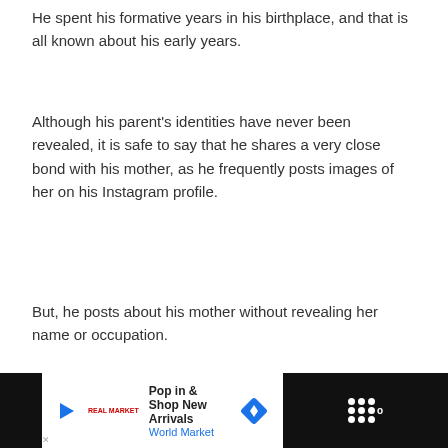He spent his formative years in his birthplace, and that is all known about his early years.
Although his parent's identities have never been revealed, it is safe to say that he shares a very close bond with his mother, as he frequently posts images of her on his Instagram profile.
But, he posts about his mother without revealing her name or occupation.
[Figure (other): Light gray placeholder rectangle for an embedded image or advertisement]
Pop in & Shop New Arrivals World Market [advertisement bar]